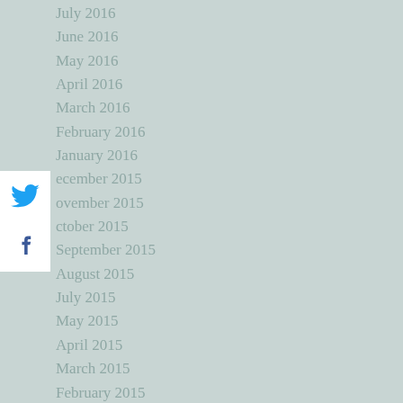July 2016
June 2016
May 2016
April 2016
March 2016
February 2016
January 2016
December 2015
November 2015
October 2015
September 2015
August 2015
July 2015
May 2015
April 2015
March 2015
February 2015
January 2015